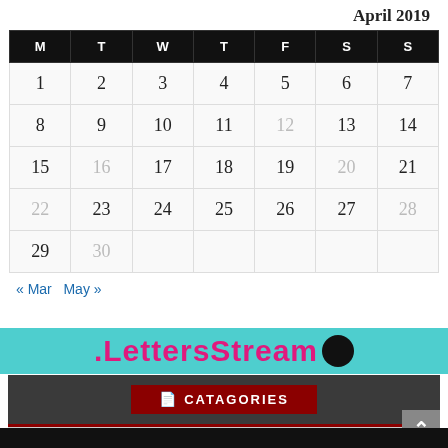April 2019
| M | T | W | T | F | S | S |
| --- | --- | --- | --- | --- | --- | --- |
| 1 | 2 | 3 | 4 | 5 | 6 | 7 |
| 8 | 9 | 10 | 11 | 12 | 13 | 14 |
| 15 | 16 | 17 | 18 | 19 | 20 | 21 |
| 22 | 23 | 24 | 25 | 26 | 27 | 28 |
| 29 | 30 |  |  |  |  |  |
« Mar  May »
[Figure (screenshot): LettersStream logo banner with teal background and pink bold text]
CATAGORIES
Select Category